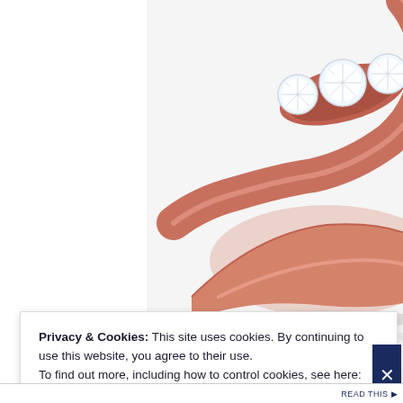[Figure (photo): Close-up photo of a rose gold three stone promise ring with three round diamonds set in a bypass/swirl style setting. The ring is displayed on a light gray/white background. The rose gold band sweeps across the image and three brilliant round diamonds are prominently visible.]
Three Stone Promise Ring in Rose G
Privacy & Cookies: This site uses cookies. By continuing to use this website, you agree to their use.
To find out more, including how to control cookies, see here: Cookie Policy
Close and accept